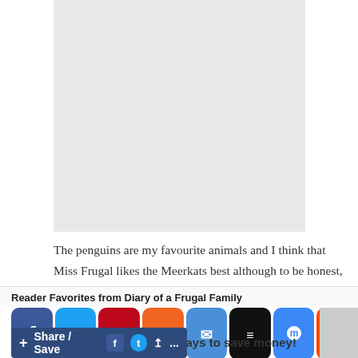[Figure (photo): Placeholder image area at top of page]
The penguins are my favourite animals and I think that Miss Frugal likes the Meerkats best although to be honest, she changes her favourite animal every time we visit.  Last year we were lucky enough to get really up close to some gorgeous Meerkats:
Reader Favorites from Diary of a Frugal Family
[Figure (screenshot): Social media share icons row: Facebook, Twitter, Pinterest, Yummly, Email, Buffer, Messenger, Reddit]
50 ways to save money!
[Figure (screenshot): Share / Save bar with social icons and ellipsis]
[Figure (photo): Right side partial image placeholder]